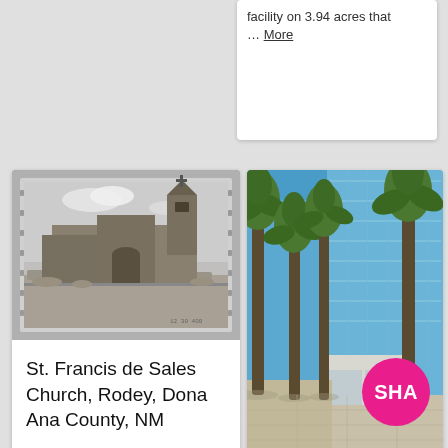facility on 3.94 acres that … More
[Figure (photo): Black and white photograph of St. Francis de Sales Church, a stone adobe church with a bell tower, in a desert landscape. Film negative border visible.]
St. Francis de Sales Church, Rodey, Dona Ana County, NM
[Figure (photo): Color photograph of a modern glass office building (Ronald Reagan Federal Building and Courthouse) with tall palm trees in the foreground and a tiled plaza entrance.]
Ronald Reagan Federal Building and Courthouse at 411
[Figure (logo): Pink circular badge with white text 'SHA']